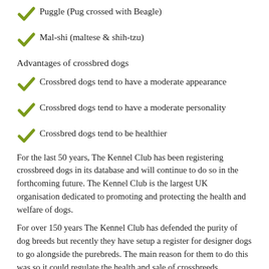Puggle (Pug crossed with Beagle)
Mal-shi (maltese & shih-tzu)
Advantages of crossbred dogs
Crossbred dogs tend to have a moderate appearance
Crossbred dogs tend to have a moderate personality
Crossbred dogs tend to be healthier
For the last 50 years, The Kennel Club has been registering crossbreed dogs in its database and will continue to do so in the forthcoming future. The Kennel Club is the largest UK organisation dedicated to promoting and protecting the health and welfare of dogs.
For over 150 years The Kennel Club has defended the purity of dog breeds but recently they have setup a register for designer dogs to go alongside the purebreds. The main reason for them to do this was so it could regulate the health and sale of crossbreeds.
Do you agree that crossbreeds/designer dogs should be classed as the same as purebreds? Please get in touch with us